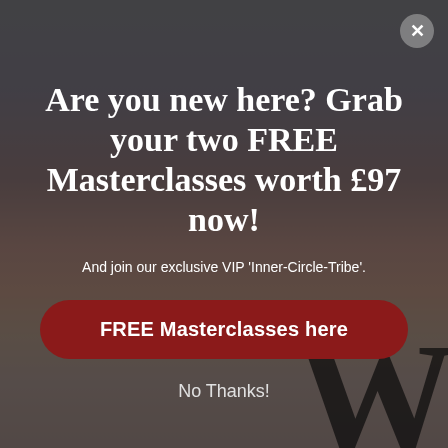[Figure (illustration): A popup/modal overlay with a dark semi-transparent background over a sunset scene with silhouetted trees. A large letter W is visible on the right side. A close button (X) is in the top right corner.]
Are you new here? Grab your two FREE Masterclasses worth £97 now!
And join our exclusive VIP 'Inner-Circle-Tribe'.
FREE Masterclasses here
No Thanks!